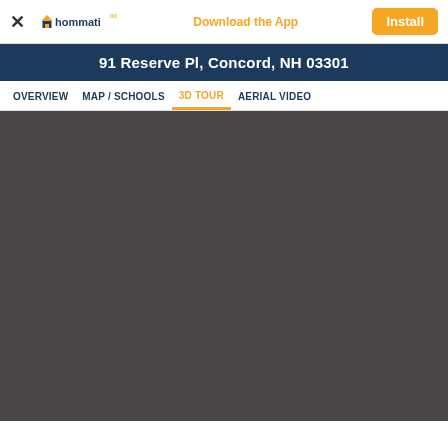hommati — Download the App — Install
91 Reserve Pl, Concord, NH 03301
OVERVIEW   MAP / SCHOOLS   3D TOUR   AERIAL VIDEO
[Figure (screenshot): Dark gray placeholder area for a 3D tour viewer, loading state with no content visible]